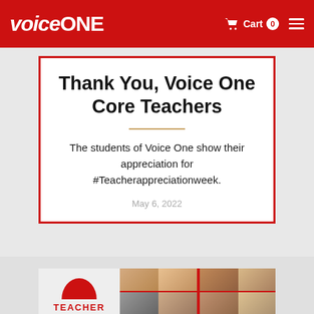VoiceOne — Cart 0
Thank You, Voice One Core Teachers
The students of Voice One show their appreciation for #Teacherappreciationweek.
May 6, 2022
[Figure (photo): Bottom card showing red arch logo, TEACHER label in red, and a grid of 8 teacher headshot photos on the right]